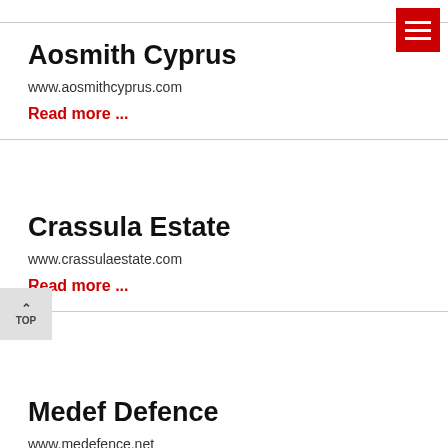[Figure (other): Red hamburger menu button in top-right corner with three white horizontal lines]
Aosmith Cyprus
www.aosmithcyprus.com
Read more ...
Crassula Estate
www.crassulaestate.com
Read more ...
[Figure (other): Gray back-to-top button with upward arrow and TOP label]
Medef Defence
www.medefence.net